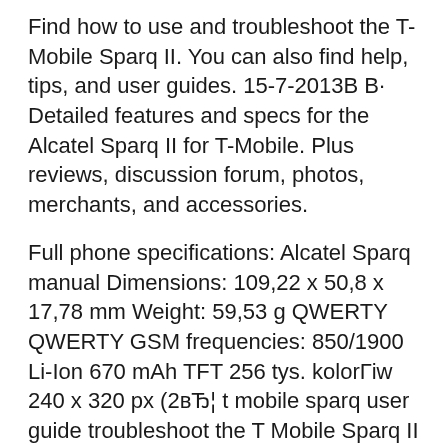Find how to use and troubleshoot the T-Mobile Sparq II. You can also find help, tips, and user guides. 15-7-2013B B· Detailed features and specs for the Alcatel Sparq II for T-Mobile. Plus reviews, discussion forum, photos, merchants, and accessories.
Full phone specifications: Alcatel Sparq manual Dimensions: 109,22 x 50,8 x 17,78 mm Weight: 59,53 g QWERTY QWERTY GSM frequencies: 850/1900 Li-Ion 670 mAh TFT 256 tys. kolorГiw 240 x 320 px (2вЂ¦ t mobile sparq user guide troubleshoot the T Mobile Sparq II You can also find help tips and user guides TEXTLINKSDEPOT COM PDF Ebook and Manual Reference